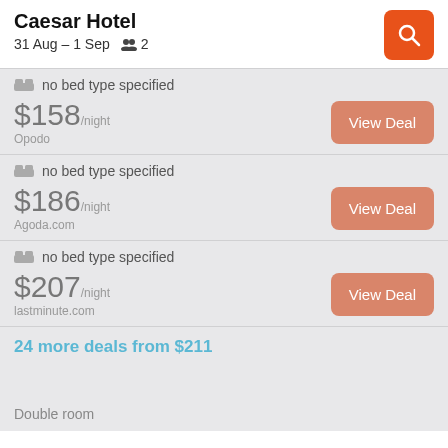Caesar Hotel
31 Aug – 1 Sep   2
no bed type specified – $158/night – Opodo – View Deal
no bed type specified – $186/night – Agoda.com – View Deal
no bed type specified – $207/night – lastminute.com – View Deal
24 more deals from $211
Double room